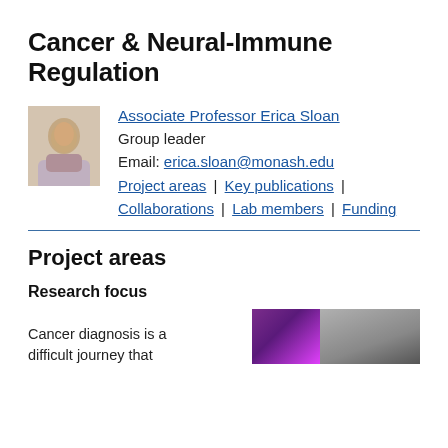Cancer & Neural-Immune Regulation
Associate Professor Erica Sloan
Group leader
Email: erica.sloan@monash.edu
Project areas | Key publications | Collaborations | Lab members | Funding
Project areas
Research focus
Cancer diagnosis is a difficult journey that
[Figure (photo): Two images side by side: a purple/violet microscopy image and a black-and-white photo of a person's hand/arm.]